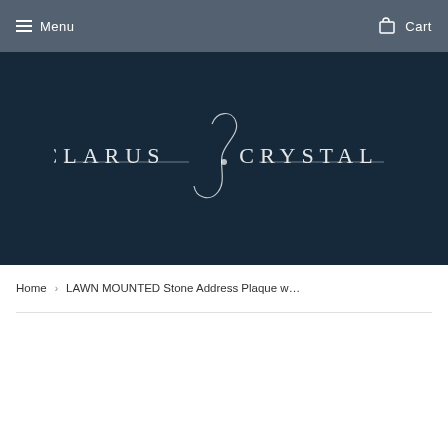Menu   Cart
[Figure (logo): Clarus Crystal logo — decorative script with 'CLARUS CRYSTAL' text and horizontal line, white on dark navy background]
Home  >  LAWN MOUNTED Stone Address Plaque w…